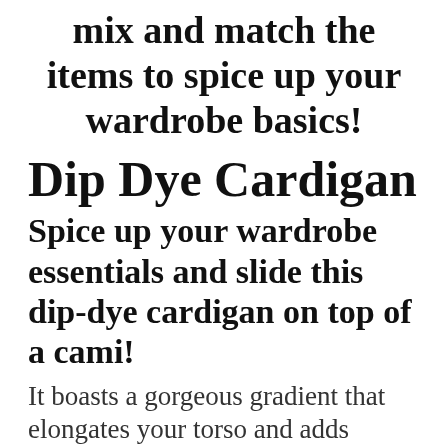mix and match the items to spice up your wardrobe basics!
Dip Dye Cardigan
Spice up your wardrobe essentials and slide this dip-dye cardigan on top of a cami!
It boasts a gorgeous gradient that elongates your torso and adds elegance. Rayon Jersey, 3